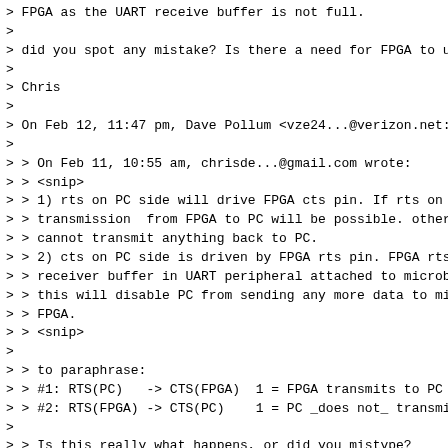> FPGA as the UART receive buffer is not full.
>
> did you spot any mistake? Is there a need for FPGA to u
>
> Chris
>
> On Feb 12, 11:47 pm, Dave Pollum <vze24...@verizon.net:
>
> > On Feb 11, 10:55 am, chrisde...@gmail.com wrote:
> > <snip>
> > 1) rts on PC side will drive FPGA cts pin. If rts on
> > transmission  from FPGA to PC will be possible. other
> > cannot transmit anything back to PC.
> > 2) cts on PC side is driven by FPGA rts pin. FPGA rts
> > receiver buffer in UART peripheral attached to microb
> > this will disable PC from sending any more data to mi
> > FPGA.
> > <snip>
>
> > to paraphrase:
> > #1: RTS(PC)   -> CTS(FPGA)  1 = FPGA transmits to PC
> > #2: RTS(FPGA) -> CTS(PC)    1 = PC _does not_ transmi
>
> > Is this really what happens, or did you mistype?
> > -Dave Pollum

Hi All:

This may indeed be a problem but how does debug make it a